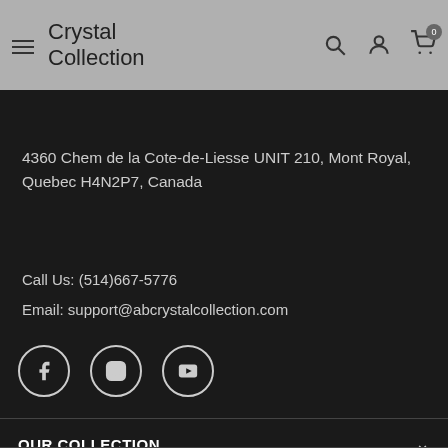Crystal Collection
4360 Chem de la Cote-de-Liesse UNIT 210, Mont Royal, Quebec H4N2P7, Canada
Call Us: (514)667-5776
Email: support@abcrystalcollection.com
[Figure (other): Social media icons: Facebook, Instagram, YouTube]
OUR COLLECTION
INFORMATION